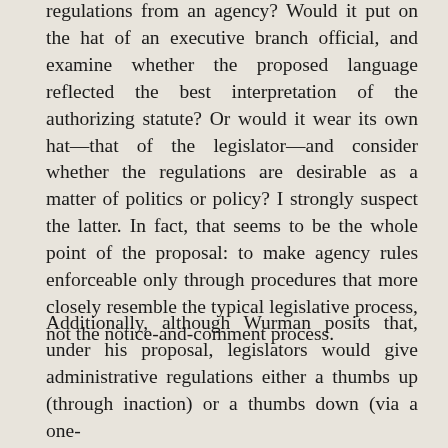regulations from an agency? Would it put on the hat of an executive branch official, and examine whether the proposed language reflected the best interpretation of the authorizing statute? Or would it wear its own hat—that of the legislator—and consider whether the regulations are desirable as a matter of politics or policy? I strongly suspect the latter. In fact, that seems to be the whole point of the proposal: to make agency rules enforceable only through procedures that more closely resemble the typical legislative process, not the notice-and-comment process.
Additionally, although Wurman posits that, under his proposal, legislators would give administrative regulations either a thumbs up (through inaction) or a thumbs down (via a one-